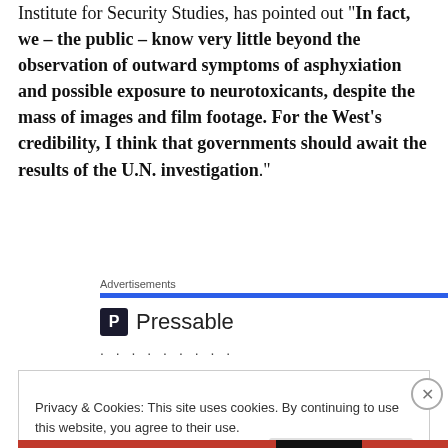Institute for Security Studies, has pointed out "In fact, we – the public – know very little beyond the observation of outward symptoms of asphyxiation and possible exposure to neurotoxicants, despite the mass of images and film footage. For the West's credibility, I think that governments should await the results of the U.N. investigation."
Advertisements
[Figure (logo): Pressable logo with blue P icon and dots below]
Privacy & Cookies: This site uses cookies. By continuing to use this website, you agree to their use. To find out more, including how to control cookies, see here: Cookie Policy
Close and accept